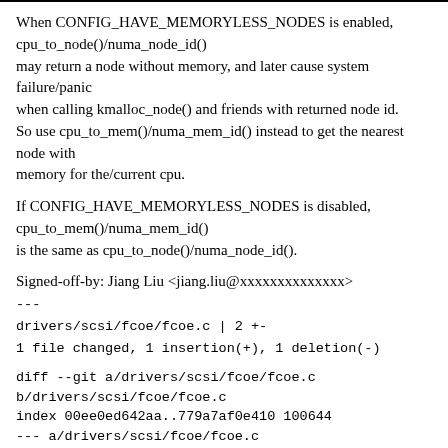When CONFIG_HAVE_MEMORYLESS_NODES is enabled, cpu_to_node()/numa_node_id() may return a node without memory, and later cause system failure/panic when calling kmalloc_node() and friends with returned node id. So use cpu_to_mem()/numa_mem_id() instead to get the nearest node with memory for the/current cpu.
If CONFIG_HAVE_MEMORYLESS_NODES is disabled, cpu_to_mem()/numa_mem_id() is the same as cpu_to_node()/numa_node_id().
Signed-off-by: Jiang Liu <jiang.liu@xxxxxxxxxxxxxx>
---
drivers/scsi/fcoe/fcoe.c | 2 +-
1 file changed, 1 insertion(+), 1 deletion(-)
diff --git a/drivers/scsi/fcoe/fcoe.c b/drivers/scsi/fcoe/fcoe.c
index 00ee0ed642aa..779a7af0e410 100644
--- a/drivers/scsi/fcoe/fcoe.c
+++ b/drivers/scsi/fcoe/fcoe.c
@@ -1257,7 +1257,7 @@ static void
fcoe_percpu_thread_create(unsigned int cpu)